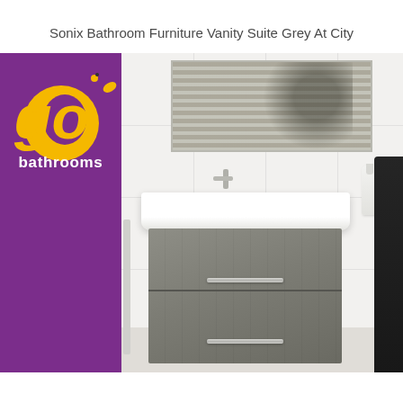Sonix Bathroom Furniture Vanity Suite Grey At City
[Figure (photo): Product photo of a Sonix bathroom vanity suite in grey, showing a wall-hung cabinet with two drawers and white ceramic basin with tap, set against white tiles with a mirror above. The go bathrooms logo (yellow rubber duck with 'go' text and 'bathrooms' below in white on purple background) is overlaid on the left side of the image.]